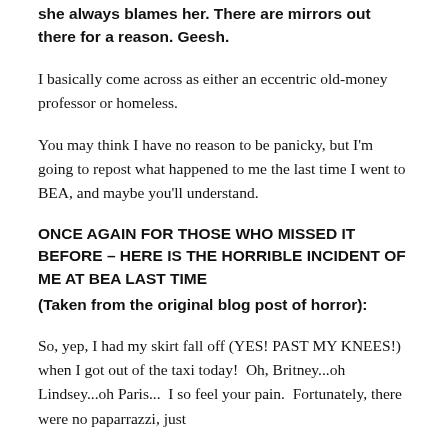she always blames her. There are mirrors out there for a reason. Geesh.
I basically come across as either an eccentric old-money professor or homeless.
You may think I have no reason to be panicky, but I'm going to repost what happened to me the last time I went to BEA, and maybe you'll understand.
ONCE AGAIN FOR THOSE WHO MISSED IT BEFORE – HERE IS THE HORRIBLE INCIDENT OF ME AT BEA LAST TIME
(Taken from the original blog post of horror):
So, yep, I had my skirt fall off (YES! PAST MY KNEES!) when I got out of the taxi today!  Oh, Britney...oh Lindsey...oh Paris...  I so feel your pain.  Fortunately, there were no paparrazzi, just